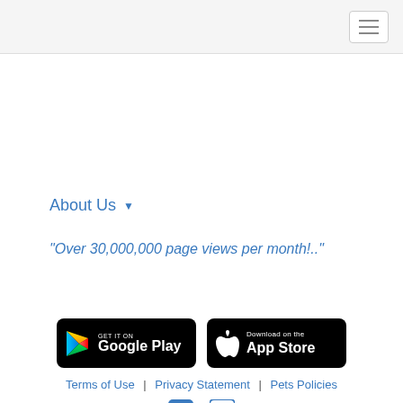Navigation bar with hamburger menu
About Us ▾
"Over 30,000,000 page views per month!.."
[Figure (logo): GET IT ON Google Play button - black rounded rectangle with Google Play triangle icon and text]
[Figure (logo): Download on the App Store button - black rounded rectangle with Apple logo and text]
Terms of Use  |  Privacy Statement  |  Pets Policies
[Figure (other): Facebook and Instagram social media icons]